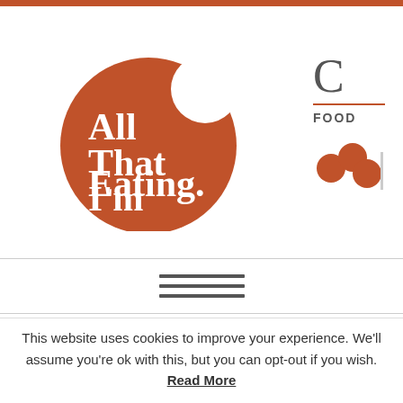[Figure (logo): All That I'm Eating logo - orange circle with bite taken out, white serif text reading 'All That I'm Eating.']
C
FOOD
[Figure (illustration): Three orange circles arranged in a cluster (Bloglovin or similar social icon)]
[Figure (illustration): Hamburger menu icon - three horizontal dark gray bars]
BROAD BEAN, BACON AND
This website uses cookies to improve your experience. We'll assume you're ok with this, but you can opt-out if you wish. Read More